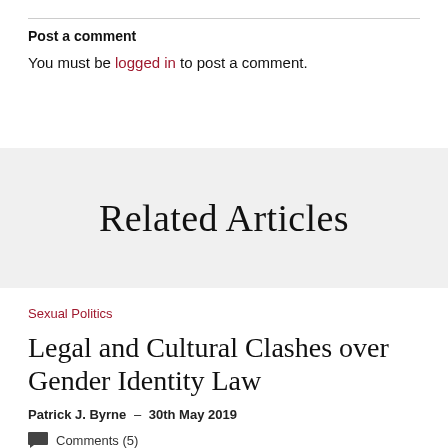Post a comment
You must be logged in to post a comment.
Related Articles
Sexual Politics
Legal and Cultural Clashes over Gender Identity Law
Patrick J. Byrne  –  30th May 2019
Comments (5)